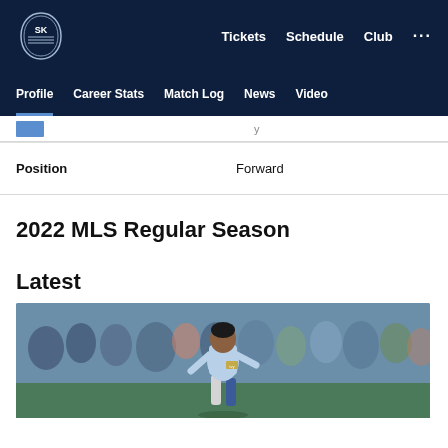Sporting KC navigation: Tickets, Schedule, Club
Profile | Career Stats | Match Log | News | Video
Position   Forward
2022 MLS Regular Season
Latest
[Figure (photo): Soccer player in light blue Sporting KC jersey dribbling, crowd in background]